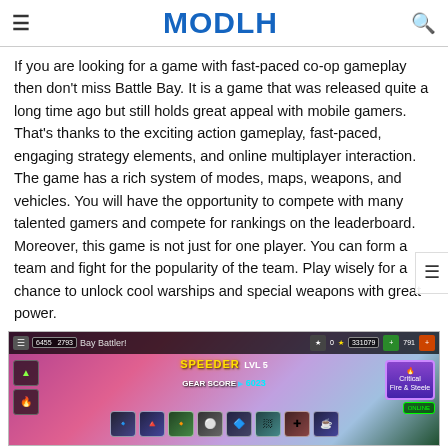≡  MODLH  🔍
If you are looking for a game with fast-paced co-op gameplay then don't miss Battle Bay. It is a game that was released quite a long time ago but still holds great appeal with mobile gamers. That's thanks to the exciting action gameplay, fast-paced, engaging strategy elements, and online multiplayer interaction. The game has a rich system of modes, maps, weapons, and vehicles. You will have the opportunity to compete with many talented gamers and compete for rankings on the leaderboard. Moreover, this game is not just for one player. You can form a team and fight for the popularity of the team. Play wisely for a chance to unlock cool warships and special weapons with great power.
[Figure (screenshot): In-game screenshot of Battle Bay mobile game showing SPEEDER LVL 5 with GEAR SCORE 6023, game HUD with icons, items bar at the bottom, and colorful background.]